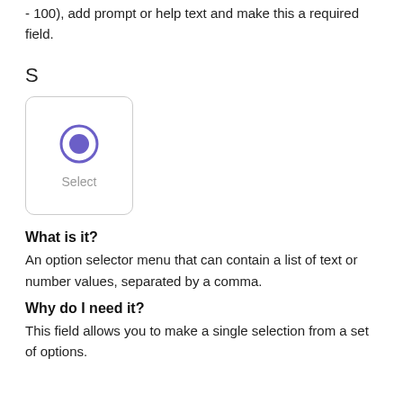- 100), add prompt or help text and make this a required field.
S
[Figure (screenshot): A UI element card showing a radio button icon (filled purple circle inside an outer purple ring) above the label 'Select', inside a rounded rectangle box with a light grey border.]
What is it?
An option selector menu that can contain a list of text or number values, separated by a comma.
Why do I need it?
This field allows you to make a single selection from a set of options.